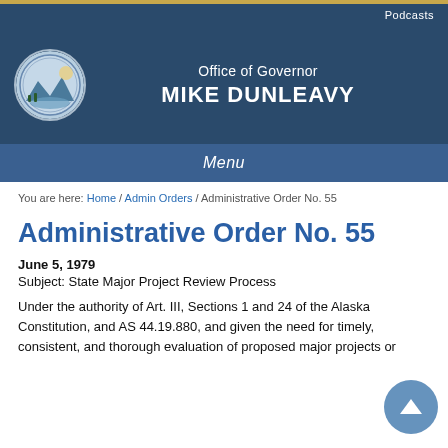Podcasts
[Figure (logo): Office of Governor Mike Dunleavy header banner with Alaska state seal]
Menu
You are here: Home / Admin Orders / Administrative Order No. 55
Administrative Order No. 55
June 5, 1979
Subject: State Major Project Review Process
Under the authority of Art. III, Sections 1 and 24 of the Alaska Constitution, and AS 44.19.880, and given the need for timely, consistent, and thorough evaluation of proposed major projects or